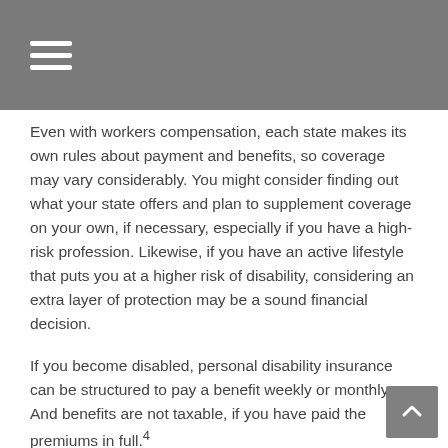Even with workers compensation, each state makes its own rules about payment and benefits, so coverage may vary considerably. You might consider finding out what your state offers and plan to supplement coverage on your own, if necessary, especially if you have a high-risk profession. Likewise, if you have an active lifestyle that puts you at a higher risk of disability, considering an extra layer of protection may be a sound financial decision.
If you become disabled, personal disability insurance can be structured to pay a benefit weekly or monthly. And benefits are not taxable, if you have paid the premiums in full.4
When you purchase a policy, you may be able to tailor coverage to suit your needs. For example, you might be able to adjust benefits or elimination periods. You might